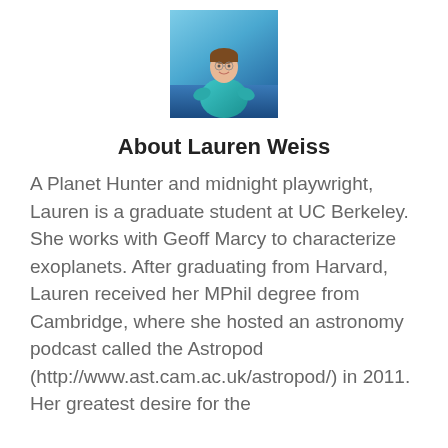[Figure (photo): Portrait photo of Lauren Weiss outdoors wearing a teal/blue jacket, standing near water]
About Lauren Weiss
A Planet Hunter and midnight playwright, Lauren is a graduate student at UC Berkeley. She works with Geoff Marcy to characterize exoplanets. After graduating from Harvard, Lauren received her MPhil degree from Cambridge, where she hosted an astronomy podcast called the Astropod (http://www.ast.cam.ac.uk/astropod/) in 2011. Her greatest desire for the